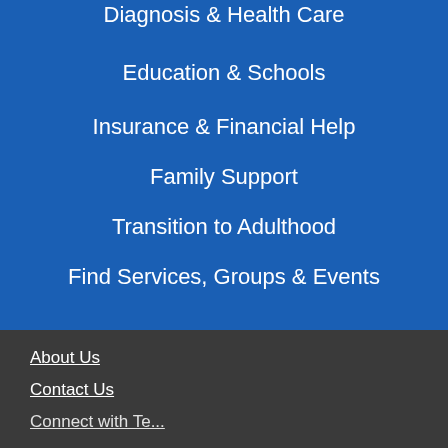Diagnosis & Health Care
Education & Schools
Insurance & Financial Help
Family Support
Transition to Adulthood
Find Services, Groups & Events
About Us
Contact Us
Connect with Te...